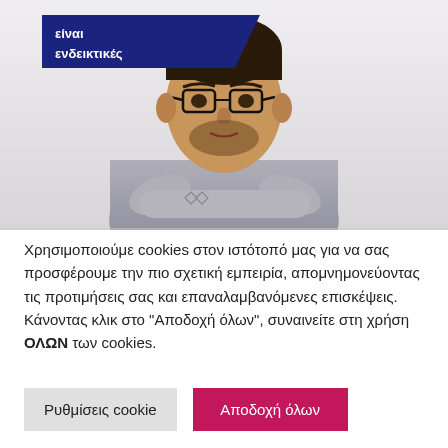[Figure (photo): Photo of a man with glasses, crossed arms, wearing a grey t-shirt, with a dark blue banner overlay in the top-left corner reading 'είναι ενδεικτικές']
Χρησιμοποιούμε cookies στον ιστότοπό μας για να σας προσφέρουμε την πιο σχετική εμπειρία, απομνημονεύοντας τις προτιμήσεις σας και επαναλαμβανόμενες επισκέψεις. Κάνοντας κλικ στο "Αποδοχή όλων", συναινείτε στη χρήση ΟΛΩΝ των cookies.
Ρυθμίσεις cookie
Αποδοχή όλων